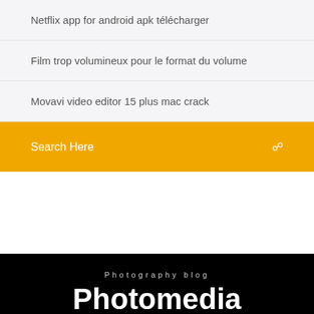Netflix app for android apk télécharger
Film trop volumineux pour le format du volume
Movavi video editor 15 plus mac crack
Search Here
Photography blog
Photomedia